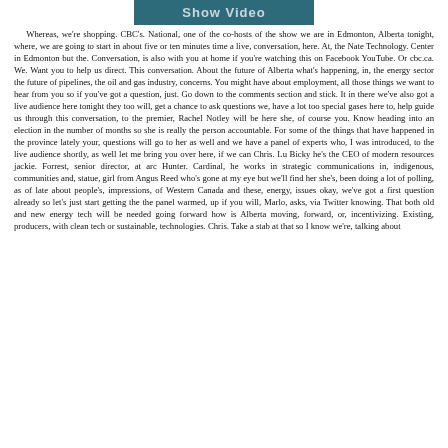[Figure (other): Show Video button bar]
Whereas, we're shopping. CBC's. National, one of the co-hosts of the show we are in Edmonton, Alberta tonight, where, we are going to start in about five or ten minutes time a live, conversation, here. At, the Nate Technology. Center in Edmonton but the. Conversation, is also with you at home if you're watching this on Facebook YouTube. Or cbc.ca. We. Want you to help us direct. This conversation. About the future of Alberta what's happening, in, the energy sector the future of pipelines, the oil and gas industry, concerns. You might have about employment, all those things we want to hear from you so if you've got a question, just. Go down to the comments section and stick. It in there we've also got a live audience here tonight they too will, get a chance to ask questions we, have a lot too special gases here to, help guide us through this conversation, to the premier, Rachel Notley will be here she, of course you. Know heading into an election in the number of months so she is really the person accountable. For some of the things that have happened in the province lately your, questions will go to her as well and we have a panel of experts who, I was introduced, to the live audience shortly, as well let me bring you over here, if we can Chris. Lu Bicky he's the CEO of modern resources jackie. Forrest, senior director, at arc Hunter. Cardinal, he works in strategic communications in, indigenous, communities and, statue, girl from Angus Reed who's gone at my eye but we'll find her she's, been doing a lot of polling, as of late about people's, impressions, of Western Canada and these, energy, issues okay, we've got a first question already so let's just start getting the the panel warmed, up if you will, Marlo, asks, via Twitter knowing. That both old and new energy tech will be needed going forward how is Alberta moving, forward, or, incentivizing. Existing, producers, with clean tech or sustainable, technologies. Chris. Take a stab at that so I know we're, talking about